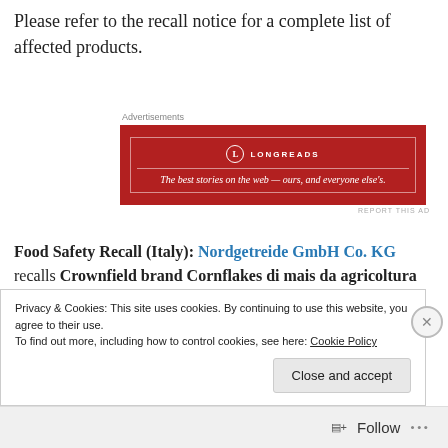Please refer to the recall notice for a complete list of affected products.
[Figure (other): Longreads advertisement banner: red background with white border, Longreads logo and tagline 'The best stories on the web — ours, and everyone else's.']
Food Safety Recall (Italy): Nordgetreide GmbH Co. KG recalls Crownfield brand Cornflakes di mais da agricoltura biologica / Organic corn flakes (375g; Expiration dates 29.05.2023, 30.05.2023 & 04.06.2023) due to aflatoxin contamination.
Privacy & Cookies: This site uses cookies. By continuing to use this website, you agree to their use.
To find out more, including how to control cookies, see here: Cookie Policy
Follow ...